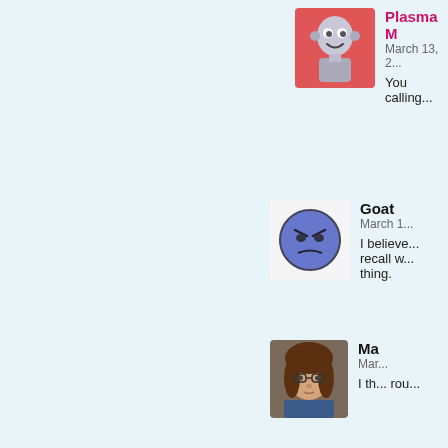[Figure (illustration): Avatar of Plasma M - animated robot/character with red background]
Plasma M
March 13, 2...
You calling...
[Figure (illustration): Avatar of Goat - blue circle with angry face]
Goat
March 1...
I believe... recall w... thing.
[Figure (illustration): Avatar of Ma - cartoon woman with brown hair and glasses]
Ma
Mar...
I th... rou...
[Figure (illustration): Grayscale illustration showing mechanical/robot parts]
bohi...